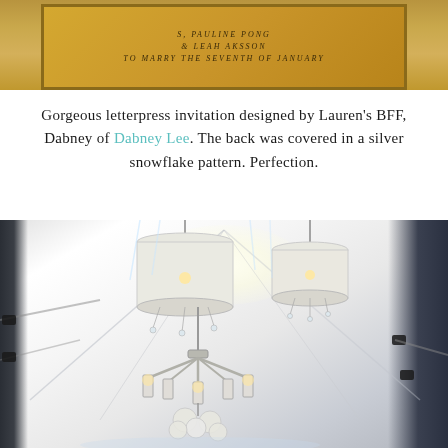[Figure (photo): Close-up photo of a gold-framed letterpress wedding invitation with text visible including names and date.]
Gorgeous letterpress invitation designed by Lauren's BFF, Dabney of Dabney Lee. The back was covered in a silver snowflake pattern. Perfection.
[Figure (photo): Looking up inside a white tent venue with crystal chandeliers and drum-shade chandeliers hanging from the tent poles. Dark curtain walls visible on sides. Bright white tent ceiling with structural poles.]